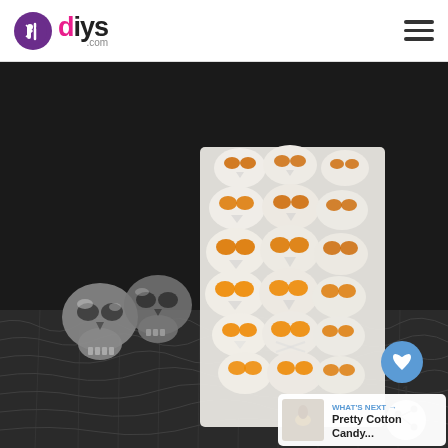diys.com
[Figure (photo): A tall white decorative candle/lantern covered with stacked plastic skulls with glowing orange eyes, displayed next to two glittery silver skull decorations on a black lace tablecloth, against a dark background. Social action buttons (heart/like, share) are overlaid on the right side. A 'WHAT'S NEXT' thumbnail preview for 'Pretty Cotton Candy...' appears in the bottom right corner.]